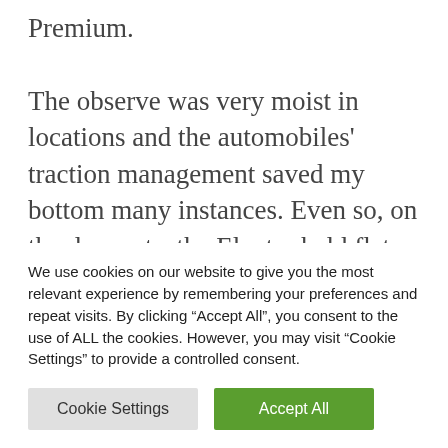Premium.

The observe was very moist in locations and the automobiles' traction management saved my bottom many instances. Even so, on the dry parts, the Elantra held flat all through and pulled strongly out of each nook. Most torque is offered from as little as 2,100 rpm, making the duty less complicated. The DCT was distinctive at realizing precisely which gear
We use cookies on our website to give you the most relevant experience by remembering your preferences and repeat visits. By clicking “Accept All”, you consent to the use of ALL the cookies. However, you may visit “Cookie Settings” to provide a controlled consent.